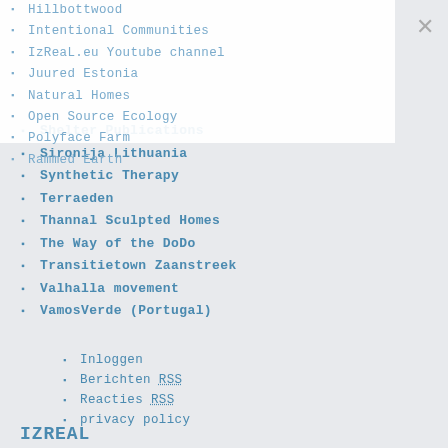Hillbottwood
Intentional Communities
IzReaL.eu Youtube channel
Juured Estonia
Natural Homes
Open Source Ecology
Polyface Farm
Rammed Earth
Shelter Publications
Sironija Lithuania
Synthetic Therapy
Terraeden
Thannal Sculpted Homes
The Way of the DoDo
Transitietown Zaanstreek
Valhalla movement
VamosVerde (Portugal)
Inloggen
Berichten RSS
Reacties RSS
privacy policy
IZREAL